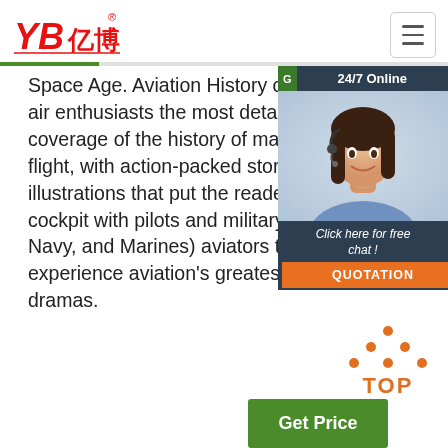[Figure (logo): YB亿博 logo in red with registered trademark symbol]
[Figure (infographic): Hamburger menu button (three horizontal lines) in a bordered square box]
Space Age. Aviation History offers air enthusiasts the most detailed coverage of the history of manned flight, with action-packed stories and illustrations that put the reader in the cockpit with pilots and military (Army, Navy, and Marines) aviators to experience aviation's greatest dramas.
[Figure (photo): Customer service agent - woman with headset smiling, in a dark teal sidebar panel with '24/7 Online' banner, 'Click here for free chat!' text, and orange QUOTATION button]
[Figure (infographic): TOP icon with orange dots arranged in triangle above the word TOP in orange text]
[Figure (other): Green 'Get Price' button at bottom]